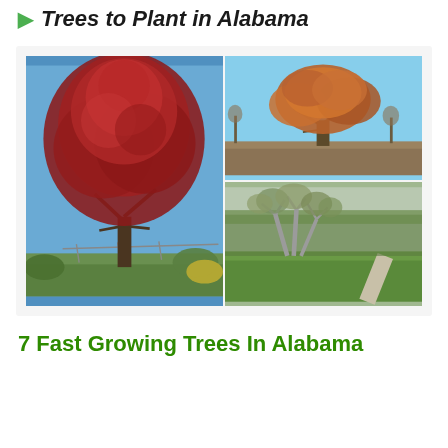Trees to Plant in Alabama
[Figure (photo): Collage of four tree photos: top-left shows a tree with brown/orange autumn foliage against a blue sky in a park setting; bottom-left shows a multi-trunk tree with gray-green foliage along a path on a grassy lawn; right side (spanning full height) shows a large tree with dense red-burgundy foliage against a blue sky in a garden setting.]
7 Fast Growing Trees In Alabama